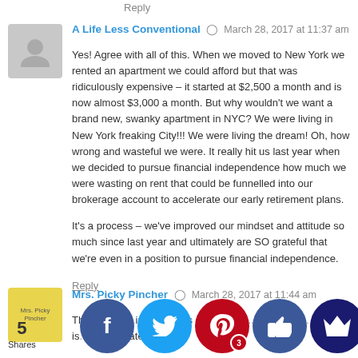Reply
A Life Less Conventional  ·  March 28, 2017 at 11:37 am
Yes! Agree with all of this. When we moved to New York we rented an apartment we could afford but that was ridiculously expensive – it started at $2,500 a month and is now almost $3,000 a month. But why wouldn't we want a brand new, swanky apartment in NYC? We were living in New York freaking City!!! We were living the dream! Oh, how wrong and wasteful we were. It really hit us last year when we decided to pursue financial independence how much we were wasting on rent that could be funnelled into our brokerage account to accelerate our early retirement plans.

It's a process – we've improved our mindset and attitude so much since last year and ultimately are SO grateful that we're even in a position to pursue financial independence.
Reply
Mrs. Picky Pincher  ·  March 28, 2017 at 11:44 am
Th... r ackno...ing priv... It's s... so assu... "j...out tha...icks!" is...ey-saw...ategy fo...